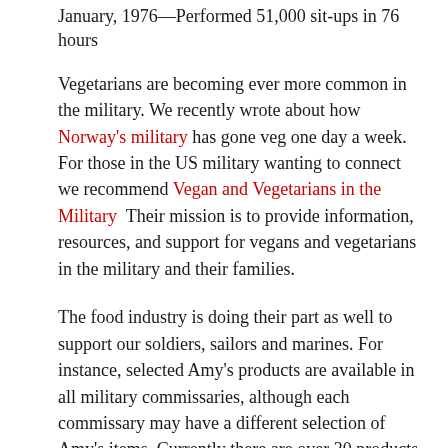January, 1976—Performed 51,000 sit-ups in 76 hours
Vegetarians are becoming ever more common in the military. We recently wrote about how Norway's military has gone veg one day a week.  For those in the US military wanting to connect we recommend Vegan and Vegetarians in the Military  Their mission is to provide information, resources, and support for vegans and vegetarians in the military and their families.
The food industry is doing their part as well to support our soldiers, sailors and marines. For instance, selected Amy's products are available in all military commissaries, although each commissary may have a different selection of Amy's items. Currently there are over 30 products approved for sale in military commissaries. Let's hope that these products inspire more in the military to give veg a try.